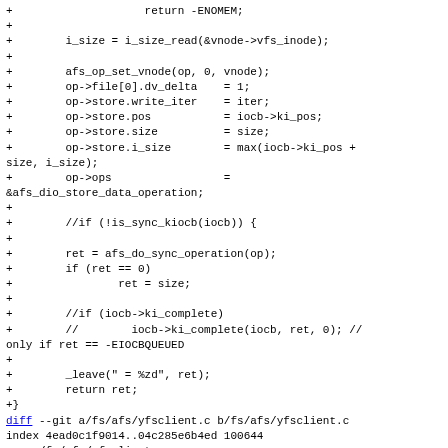Code diff showing additions to afs file and diff header for yfsclient.c